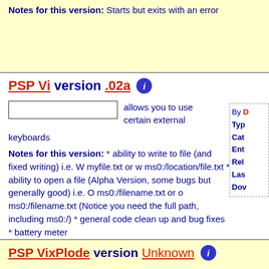Notes for this version: Starts but exits with an error
PSP Vi version .02a
allows you to use certain external keyboards
Notes for this version: * ability to write to file (and fixed writing) i.e. W myfile.txt or w ms0:/location/file.txt * ability to open a file (Alpha Version, some bugs but generally good) i.e. O ms0:/filename.txt or o ms0:/filename.txt (Notice you need the full path, including ms0:/) * general code clean up and bug fixes * battery meter
By [truncated] Type Cat Ent Rel Las Dow
PSP VixPlode version Unknown